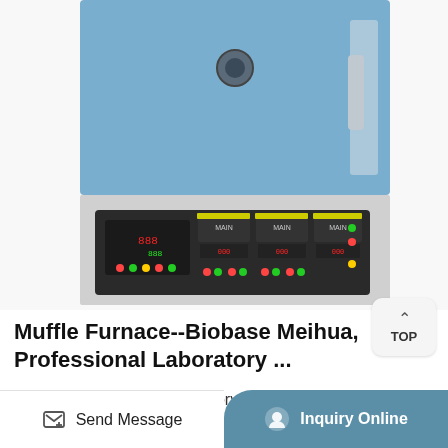[Figure (photo): Photo of a blue muffle furnace with digital control panel at the bottom, showing temperature controllers and switches on a grey panel.]
Muffle Furnace--Biobase Meihua, Professional Laboratory ...
Biobase,professional laboratory and medical products supplier. Add to Favorites. Register Login Quit. Products; Promotion; News; Home; Product. Air Shower ... Muffle Furnace. Detail. Muffle Furnace. Detail. Ceramic Fiber Muffle
Send Message   Inquiry Online